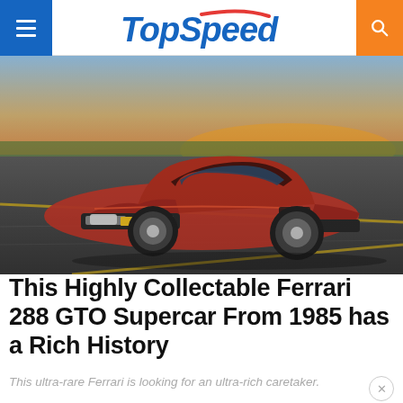TopSpeed
[Figure (photo): A red Ferrari 288 GTO supercar parked on a tarmac/airfield surface, photographed from a three-quarter front angle. The background shows an open sky with warm golden light at the horizon and green grass in the distance.]
This Highly Collectable Ferrari 288 GTO Supercar From 1985 has a Rich History
This ultra-rare Ferrari is looking for an ultra-rich caretaker.